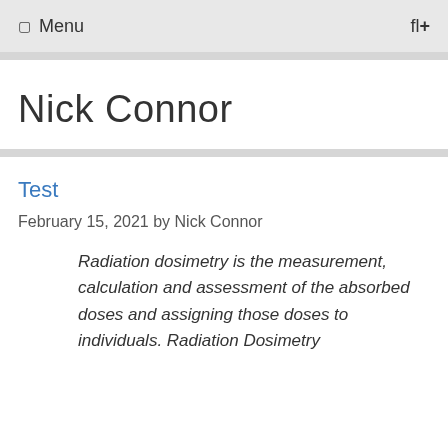Menu  fl+
Nick Connor
Test
February 15, 2021 by Nick Connor
Radiation dosimetry is the measurement, calculation and assessment of the absorbed doses and assigning those doses to individuals. Radiation Dosimetry